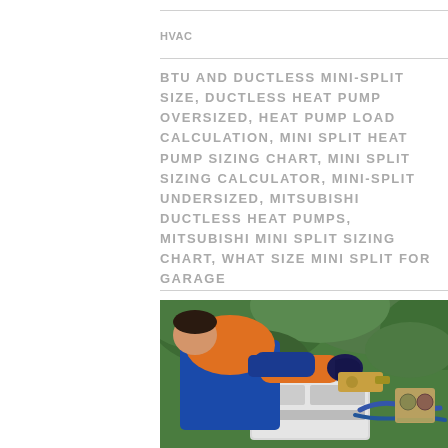HVAC
BTU AND DUCTLESS MINI-SPLIT SIZE, DUCTLESS HEAT PUMP OVERSIZED, HEAT PUMP LOAD CALCULATION, MINI SPLIT HEAT PUMP SIZING CHART, MINI SPLIT SIZING CALCULATOR, MINI-SPLIT UNDERSIZED, MITSUBISHI DUCTLESS HEAT PUMPS, MITSUBISHI MINI SPLIT SIZING CHART, WHAT SIZE MINI SPLIT FOR GARAGE
[Figure (photo): HVAC technician in orange shirt and blue work clothes servicing a mini-split outdoor unit with gauges and hoses, green foliage in background]